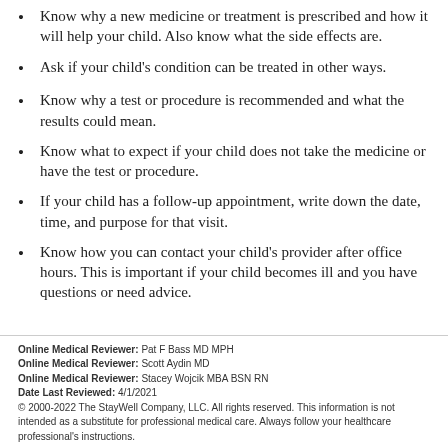Know why a new medicine or treatment is prescribed and how it will help your child. Also know what the side effects are.
Ask if your child's condition can be treated in other ways.
Know why a test or procedure is recommended and what the results could mean.
Know what to expect if your child does not take the medicine or have the test or procedure.
If your child has a follow-up appointment, write down the date, time, and purpose for that visit.
Know how you can contact your child's provider after office hours. This is important if your child becomes ill and you have questions or need advice.
Online Medical Reviewer: Pat F Bass MD MPH
Online Medical Reviewer: Scott Aydin MD
Online Medical Reviewer: Stacey Wojcik MBA BSN RN
Date Last Reviewed: 4/1/2021
© 2000-2022 The StayWell Company, LLC. All rights reserved. This information is not intended as a substitute for professional medical care. Always follow your healthcare professional's instructions.